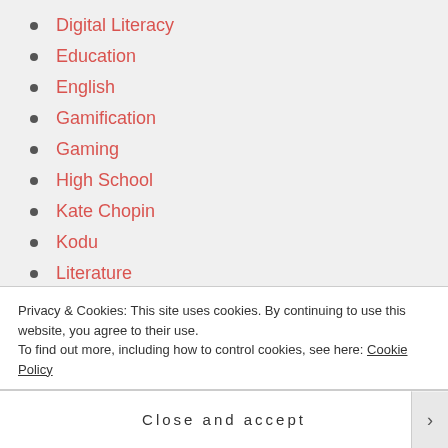Digital Literacy
Education
English
Gamification
Gaming
High School
Kate Chopin
Kodu
Literature
Margaret Atwood
Music
Privacy & Cookies: This site uses cookies. By continuing to use this website, you agree to their use.
To find out more, including how to control cookies, see here: Cookie Policy
Close and accept